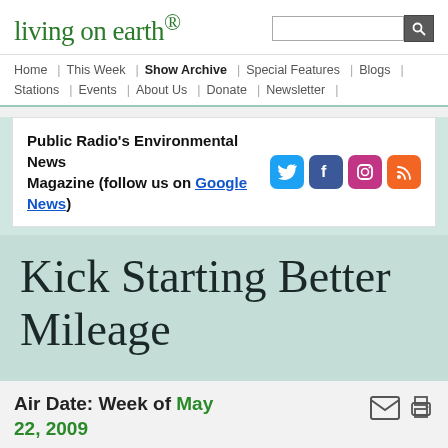living on earth®
Home | This Week | Show Archive | Special Features | Blogs | Stations | Events | About Us | Donate | Newsletter |
Public Radio's Environmental News Magazine (follow us on Google News)
Kick Starting Better Mileage
Air Date: Week of May 22, 2009